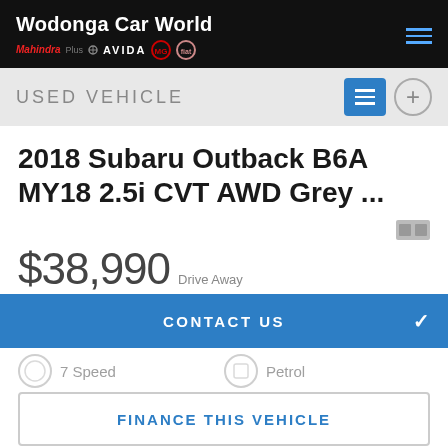Wodonga Car World
USED VEHICLE
2018 Subaru Outback B6A MY18 2.5i CVT AWD Grey ...
$38,990 Drive Away
$37,819 EGC
48,638  2.5L
CONTACT US
7 Speed  Petrol
FINANCE THIS VEHICLE